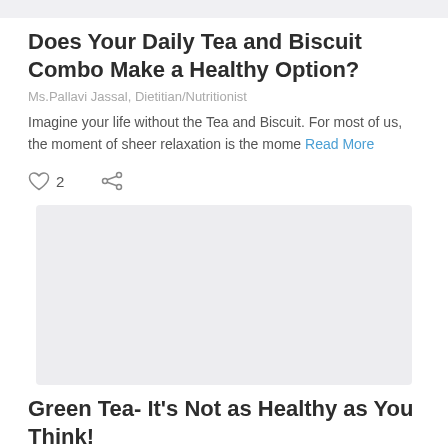Does Your Daily Tea and Biscuit Combo Make a Healthy Option?
Ms.Pallavi Jassal, Dietitian/Nutritionist
Imagine your life without the Tea and Biscuit. For most of us, the moment of sheer relaxation is the mome Read More
[Figure (photo): Article image placeholder (light gray rectangle)]
Green Tea- It's Not as Healthy as You Think!